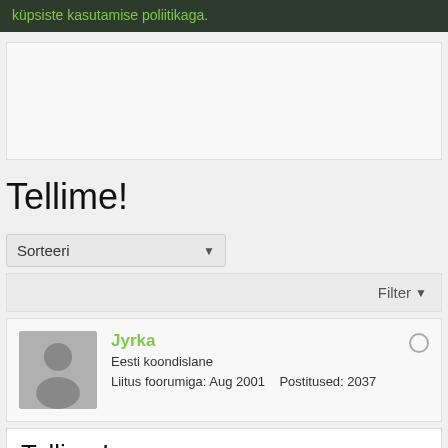küpsiste kasutamise poliitikaga.
[Figure (other): Advertisement placeholder box]
Tellime!
Sorteeri
Filter ▼
Jyrka
Eesti koondislane
Liitus foorumiga: Aug 2001    Postitused: 2037
Tellime!  #1